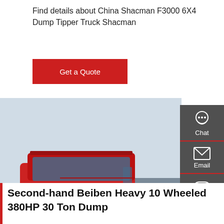Find details about China Shacman F3000 6X4 Dump Tipper Truck Shacman
Get a Quote
[Figure (photo): Red HOWO heavy trucks parked in a row at a yard, with a green dump truck visible at the right. Multiple large semi-trucks are shown from the front-right angle.]
[Figure (other): Sidebar panel with dark grey background showing Chat, Email, Contact, and Top navigation icons with red dividers]
Second-hand Beiben Heavy 10 Wheeled 380HP 30 Ton Dump